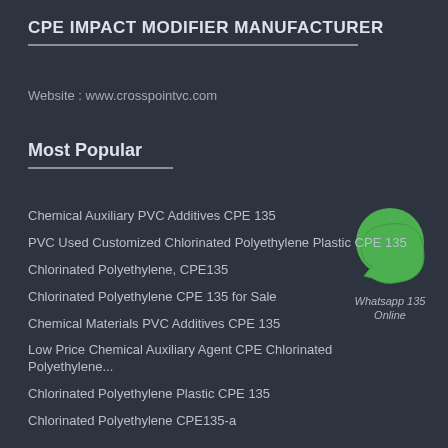CPE IMPACT MODIFIER MANUFACTURER
Website : www.crosspointvc.com
Most Popular
Chemical Auxiliary PVC Additives CPE 135
PVC Used Customized Chlorinated Polyethylene Plastic CPE 135
Chlorinated Polyethylene, CPE135
Chlorinated Polyethylene CPE 135 for Sale
Chemical Materials PVC Additives CPE 135
Low Price Chemical Auxiliary Agent CPE Chlorinated Polyethylene...
Chlorinated Polyethylene Plastic CPE 135
Chlorinated Polyethylene CPE135-a
[Figure (logo): WhatsApp green phone icon with 'Whatsapp 135 Online' text overlay]